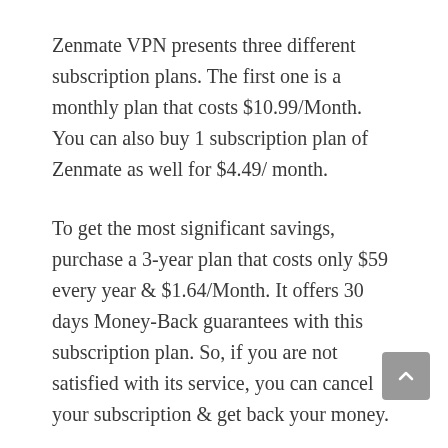Zenmate VPN presents three different subscription plans. The first one is a monthly plan that costs $10.99/Month. You can also buy 1 subscription plan of Zenmate as well for $4.49/ month.
To get the most significant savings, purchase a 3-year plan that costs only $59 every year & $1.64/Month. It offers 30 days Money-Back guarantees with this subscription plan. So, if you are not satisfied with its service, you can cancel your subscription & get back your money.